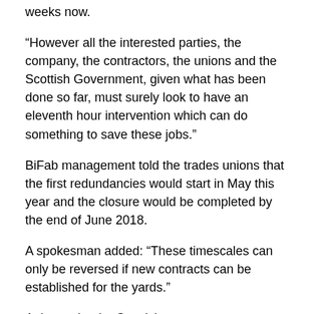weeks now.
“However all the interested parties, the company, the contractors, the unions and the Scottish Government, given what has been done so far, must surely look to have an eleventh hour intervention which can do something to save these jobs.”
BiFab management told the trades unions that the first redundancies would start in May this year and the closure would be completed by the end of June 2018.
A spokesman added: “These timescales can only be reversed if new contracts can be established for the yards.”
A deputy leader Scottish...